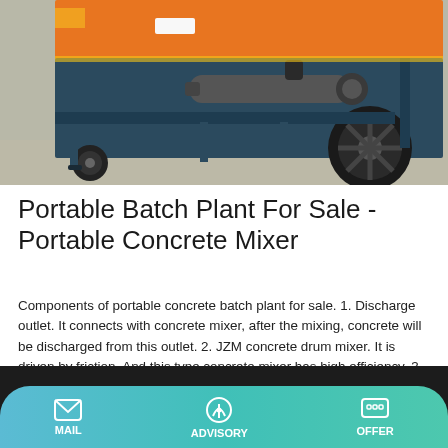[Figure (photo): Photo of a portable concrete batch plant / mobile concrete mixer with orange top, dark blue/teal frame, large wheel, support legs, and hydraulic cylinder, photographed outdoors on pavement.]
Portable Batch Plant For Sale - Portable Concrete Mixer
Components of portable concrete batch plant for sale. 1. Discharge outlet. It connects with concrete mixer, after the mixing, concrete will be discharged from this outlet. 2. JZM concrete drum mixer. It is driven by friction. And this type concrete mixer has high efficiency. 3.
Learn More